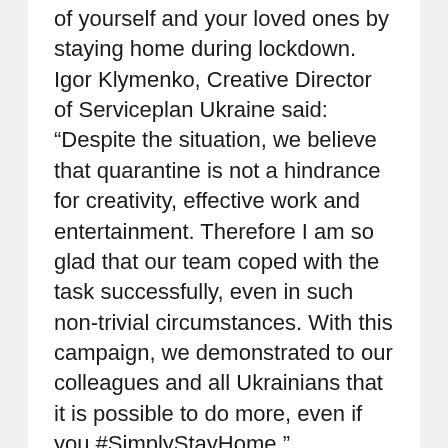of yourself and your loved ones by staying home during lockdown. Igor Klymenko, Creative Director of Serviceplan Ukraine said: “Despite the situation, we believe that quarantine is not a hindrance for creativity, effective work and entertainment. Therefore I am so glad that our team coped with the task successfully, even in such non-trivial circumstances. With this campaign, we demonstrated to our colleagues and all Ukrainians that it is possible to do more, even if you #SimplyStayHome.” The campaign was created in two weeks and is comprised of commercials for TV and YouTube, featuring 3 touching stories revealing the lives of ordinary Ukrainian people living through quarantine. One of the spots features Ukrainian music band ‘Brunettes Shoot Blondes’, who composed the